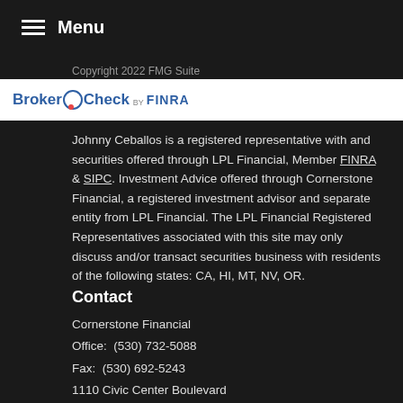Menu
Copyright 2022 FMG Suite
[Figure (logo): BrokerCheck by FINRA logo on white background]
Johnny Ceballos is a registered representative with and securities offered through LPL Financial, Member FINRA & SIPC. Investment Advice offered through Cornerstone Financial, a registered investment advisor and separate entity from LPL Financial. The LPL Financial Registered Representatives associated with this site may only discuss and/or transact securities business with residents of the following states: CA, HI, MT, NV, OR.
Contact
Cornerstone Financial
Office:  (530) 732-5088
Fax:  (530) 692-5243
1110 Civic Center Boulevard